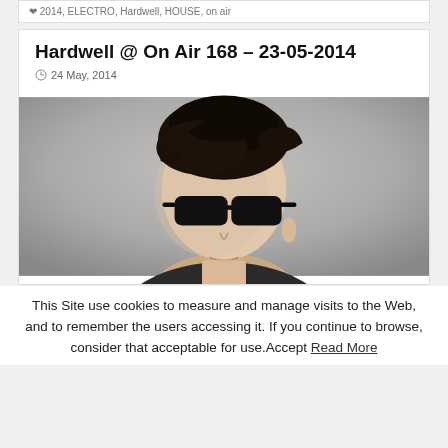2014, ELECTRO, Hardwell, HOUSE, on air
Hardwell @ On Air 168 – 23-05-2014
24 May, 2014
[Figure (photo): Photo of a young man with dark hair styled upward, wearing black sunglasses, photographed against a grey background from a slightly low angle in profile/three-quarter view.]
This Site use cookies to measure and manage visits to the Web, and to remember the users accessing it. If you continue to browse, consider that acceptable for use.Accept Read More